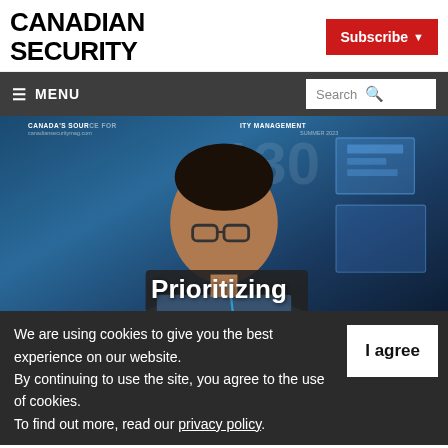CANADIAN SECURITY
Subscribe ▾
≡ MENU
Search 🔍
[Figure (photo): Canadian Security magazine cover showing a man wearing glasses and a blue shirt holding a laptop, with digital screens in the background and text 'CANADA'S SOURCE FOR RITY MANAGEMENT' at the top and 'Prioritizing' overlaid at the bottom]
We are using cookies to give you the best experience on our website.
By continuing to use the site, you agree to the use of cookies.
To find out more, read our privacy policy.
I agree